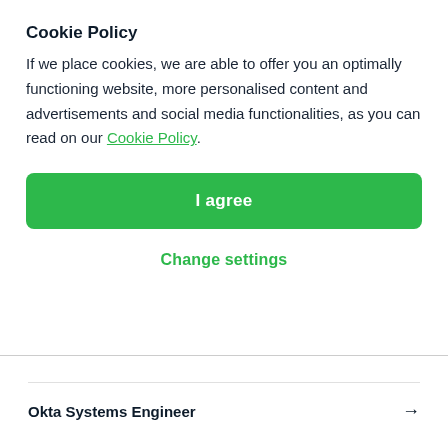Cookie Policy
If we place cookies, we are able to offer you an optimally functioning website, more personalised content and advertisements and social media functionalities, as you can read on our Cookie Policy.
I agree
Change settings
Okta Systems Engineer →